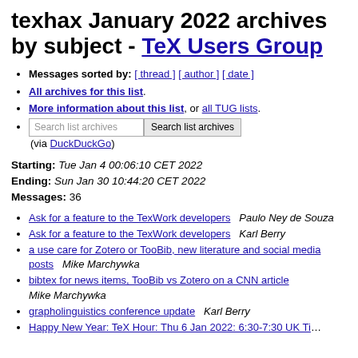texhax January 2022 archives by subject - TeX Users Group
Messages sorted by: [ thread ] [ author ] [ date ]
All archives for this list.
More information about this list, or all TUG lists.
Search list archives (via DuckDuckGo)
Starting: Tue Jan 4 00:06:10 CET 2022
Ending: Sun Jan 30 10:44:20 CET 2022
Messages: 36
Ask for a feature to the TexWork developers   Paulo Ney de Souza
Ask for a feature to the TexWork developers   Karl Berry
a use care for Zotero or TooBib, new literature and social media posts   Mike Marchywka
bibtex for news items, TooBib vs Zotero on a CNN article   Mike Marchywka
grapholinguistics conference update   Karl Berry
Happy New Year: TeX Hour: Thu 6 Jan 2022: 6:30-7:30 UK Time   Jonathan Fine